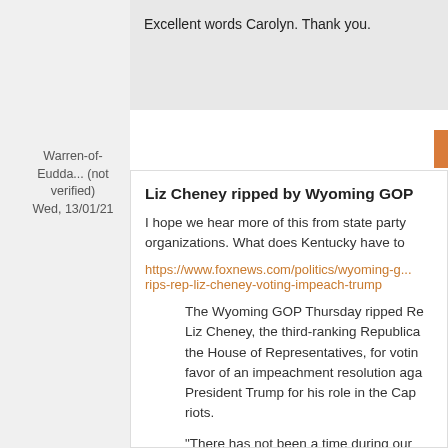Excellent words Carolyn. Thank you.
Warren-of-Eudda... (not verified)
Wed, 13/01/21
carolyn
Thu, 14/01/21
Liz Cheney ripped by Wyoming GOP
I hope we hear more of this from state party organizations. What does Kentucky have to
https://www.foxnews.com/politics/wyoming-g... rips-rep-liz-cheney-voting-impeach-trump
The Wyoming GOP Thursday ripped Rep. Liz Cheney, the third-ranking Republican in the House of Representatives, for voting in favor of an impeachment resolution against President Trump for his role in the Capitol riots.
"There has not been a time during our tenure when we have seen this type of outcry from our fellow Republicans, with